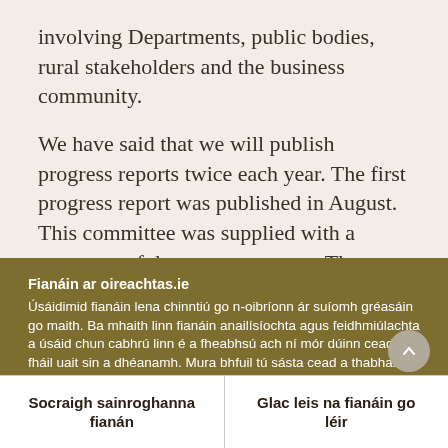involving Departments, public bodies, rural stakeholders and the business community.

We have said that we will publish progress reports twice each year. The first progress report was published in August. This committee was supplied with a summary of the progress report. The monitoring committee is examining some important the…
Fianáin ar oireachtas.ie
Úsáidimid fianáin lena chinntiú go n-oibríonn ár suíomh gréasáin go maith. Ba mhaith linn fianáin anailísíochta agus feidhmiúlachta a úsáid chun cabhrú linn é a fheabhsú ach ní mór dúinn cead a fháil uait sin a dhéanamh. Mura bhfuil tú sásta cead a thabhairt, ní úsáidfear ach fianáin riachtanacha. Léigh tuileadh faoinár bhfianáin
Socraigh sainroghanna fianán
Glac leis na fianáin go léir